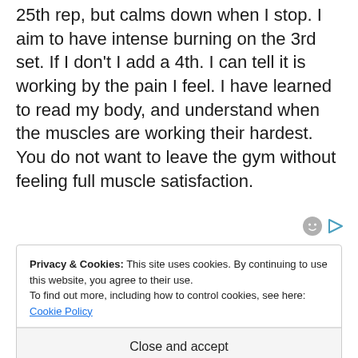25th rep, but calms down when I stop. I aim to have intense burning on the 3rd set. If I don't I add a 4th. I can tell it is working by the pain I feel. I have learned to read my body, and understand when the muscles are working their hardest. You do not want to leave the gym without feeling full muscle satisfaction.
Privacy & Cookies: This site uses cookies. By continuing to use this website, you agree to their use.
To find out more, including how to control cookies, see here: Cookie Policy
Close and accept